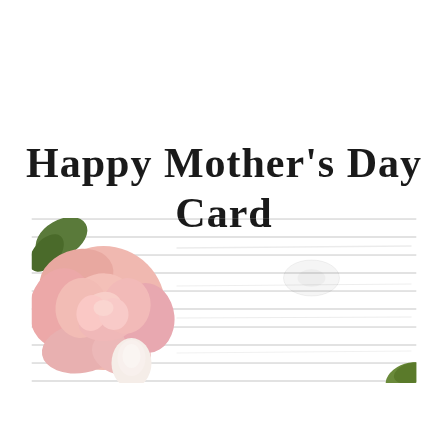Happy Mother's Day Card
[Figure (illustration): A banner-style image showing pink roses on the left and a rustic grey weathered wood plank background spanning most of the width, with a hint of green foliage on the far right.]